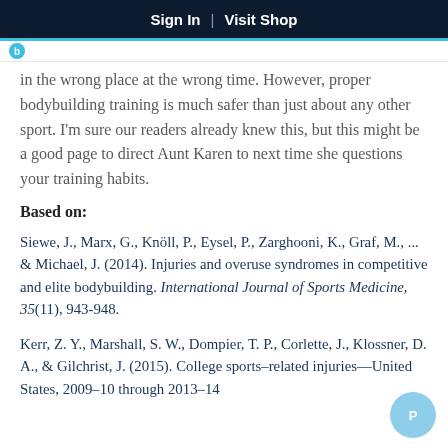Sign In  |  Visit Shop
in the wrong place at the wrong time. However, proper bodybuilding training is much safer than just about any other sport. I'm sure our readers already knew this, but this might be a good page to direct Aunt Karen to next time she questions your training habits.
Based on:
Siewe, J., Marx, G., Knöll, P., Eysel, P., Zarghooni, K., Graf, M., ... & Michael, J. (2014). Injuries and overuse syndromes in competitive and elite bodybuilding. International Journal of Sports Medicine, 35(11), 943-948.
Kerr, Z. Y., Marshall, S. W., Dompier, T. P., Corlette, J., Klossner, D. A., & Gilchrist, J. (2015). College sports–related injuries—United States, 2009–10 through 2013–14